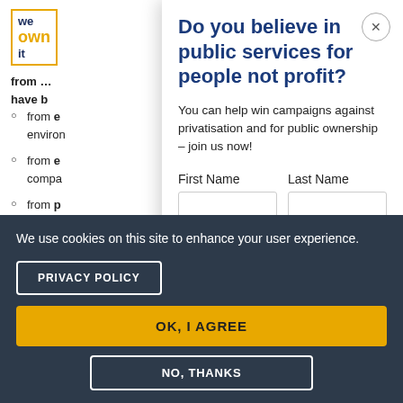[Figure (logo): We Own It logo with orange border, blue text 'we it' and orange text 'own']
from e... environ...
from e... compa...
from p... morbid... privatisa...
Do you believe in public services for people not profit?
You can help win campaigns against privatisation and for public ownership – join us now!
First Name
Last Name
We use cookies on this site to enhance your user experience.
PRIVACY POLICY
OK, I AGREE
NO, THANKS